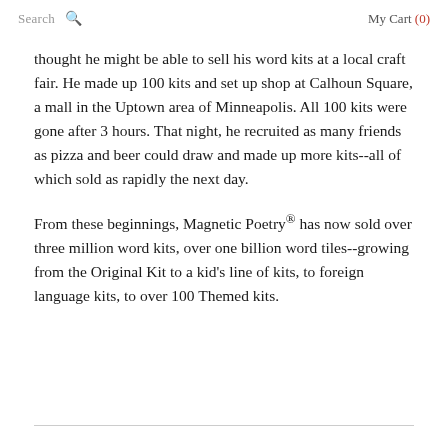Search  🔍  My Cart (0)
thought he might be able to sell his word kits at a local craft fair. He made up 100 kits and set up shop at Calhoun Square, a mall in the Uptown area of Minneapolis. All 100 kits were gone after 3 hours. That night, he recruited as many friends as pizza and beer could draw and made up more kits--all of which sold as rapidly the next day.
From these beginnings, Magnetic Poetry® has now sold over three million word kits, over one billion word tiles--growing from the Original Kit to a kid's line of kits, to foreign language kits, to over 100 Themed kits.